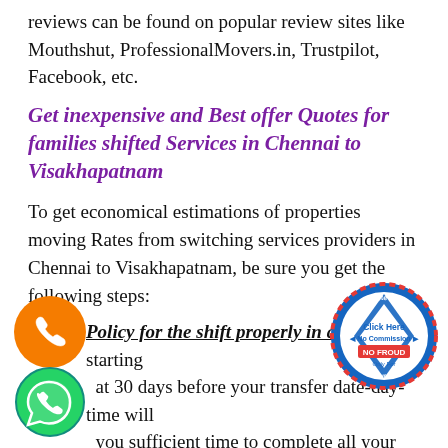reviews can be found on popular review sites like Mouthshut, ProfessionalMovers.in, Trustpilot, Facebook, etc.
Get inexpensive and Best offer Quotes for families shifted Services in Chennai to Visakhapatnam
To get economical estimations of properties moving Rates from switching services providers in Chennai to Visakhapatnam, be sure you get the following steps:
Policy for the shift properly in advance: starting at least 30 days before your transfer date-day-time will you sufficient time to complete all your pre-shifting responsibilities like preparing your new Villa before Transportation, updating your po...
[Figure (logo): Orange circular phone/call icon]
[Figure (logo): Green WhatsApp phone icon circle]
[Figure (logo): Circular badge: Get Free Quote, Click Here, No Commission, NO FROUD, Only For Packers and Movers]